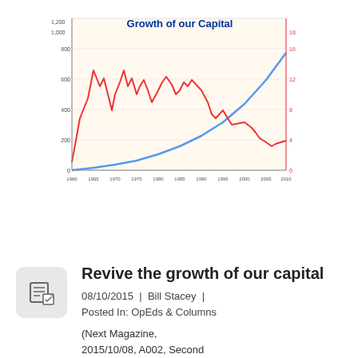[Figure (continuous-plot): Dual-axis line chart titled 'Growth of our Capital'. A red line shows volatile capital growth peaking around 1000-1200 in the early years and oscillating significantly before declining. A blue line shows steady upward growth from near zero to approximately 12-18 on the right axis. The x-axis spans from approximately 1960 to 2015. Left y-axis ranges from about -100/100 to 1200. Right y-axis ranges from 0 to 18.]
Revive the growth of our capital
08/10/2015  |  Bill Stacey  |  Posted In: OpEds & Columns
(Next Magazine, 2015/10/08, A002, Second